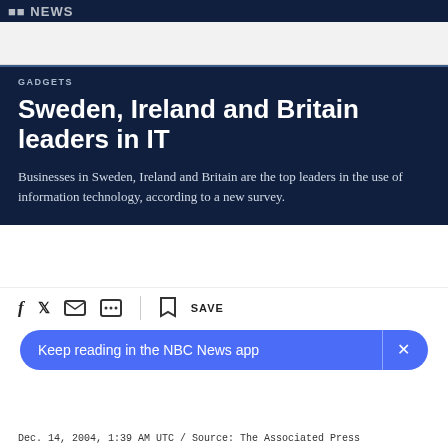NBC NEWS
GADGETS
Sweden, Ireland and Britain leaders in IT
Businesses in Sweden, Ireland and Britain are the top leaders in the use of information technology, according to a new survey.
SAVE
Keep reading in the NBC News app
Dec. 14, 2004, 1:39 AM UTC / Source: The Associated Press